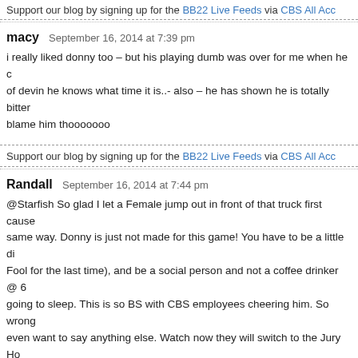Support our blog by signing up for the BB22 Live Feeds via CBS All Acc...
macy   September 16, 2014 at 7:39 pm

i really liked donny too – but his playing dumb was over for me when he c... of devin he knows what time it is..- also – he has shown he is totally bitter... blame him thooooooo
Support our blog by signing up for the BB22 Live Feeds via CBS All Acc...
Randall   September 16, 2014 at 7:44 pm

@Starfish So glad I let a Female jump out in front of that truck first cause... same way. Donny is just not made for this game! You have to be a little di... Fool for the last time), and be a social person and not a coffee drinker @ 6... going to sleep. This is so BS with CBS employees cheering him. So wrong... even want to say anything else. Watch now they will switch to the Jury Ho...